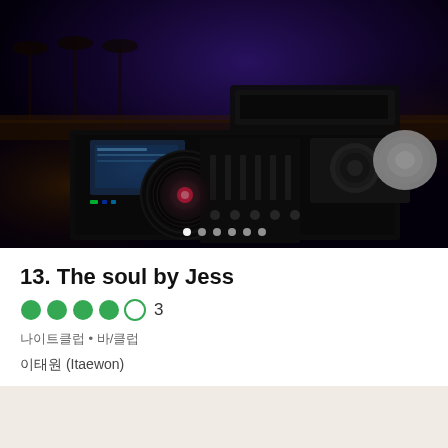[Figure (photo): DJ equipment setup on a bar counter with Pioneer CDJ turntables and mixer in a dark nightclub/bar with blue and purple ambient lighting. Bar stools and bar counter visible in background.]
13. The soul by Jess
4 out of 5 stars  3
나이트클럽 • 바/클럽
이태원 (Itaewon)